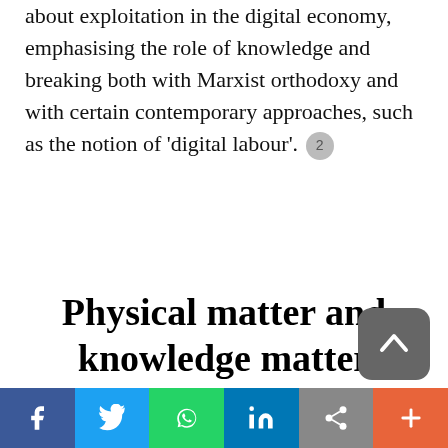about exploitation in the digital economy, emphasising the role of knowledge and breaking both with Marxist orthodoxy and with certain contemporary approaches, such as the notion of 'digital labour'. [2]
Physical matter and knowledge matter
According to M. Zukerfeld, in capitalism most goods are subject to a double regulation. They are apprehended both as